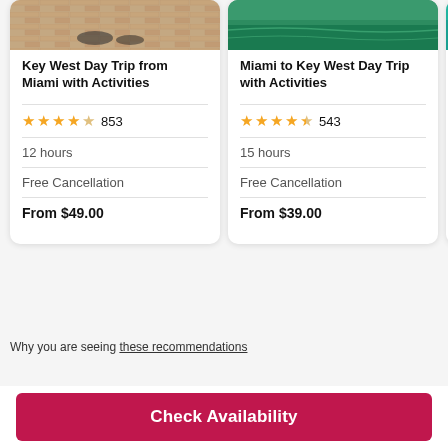[Figure (photo): Photo of Key West brick/stone plaza at top of card 1]
Key West Day Trip from Miami with Activities
4 stars (4 filled, 1 empty) 853
12 hours
Free Cancellation
From $49.00
[Figure (photo): Photo of green water / tropical scene at top of card 2]
Miami to Key West Day Trip with Activities
4.5 stars 543
15 hours
Free Cancellation
From $39.00
[Figure (photo): Partially visible teal/turquoise image at top of card 3]
Key W... Snor...
2 stars visible, 15 ho... Free... From...
Why you are seeing these recommendations
Explore Similar Things to Do
Check Availability